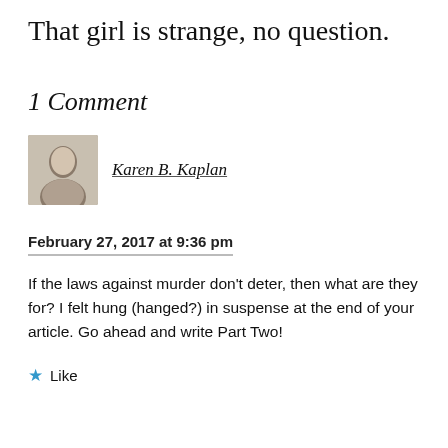That girl is strange, no question.
1 Comment
Karen B. Kaplan
February 27, 2017 at 9:36 pm
If the laws against murder don't deter, then what are they for? I felt hung (hanged?) in suspense at the end of your article. Go ahead and write Part Two!
Like